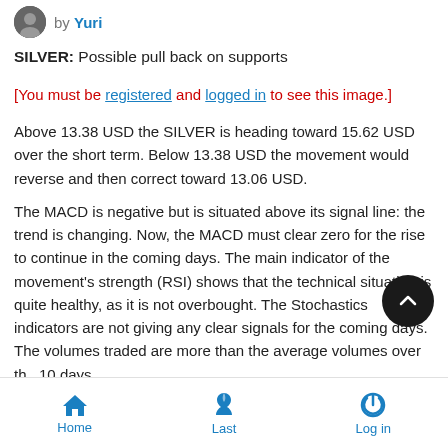by Yuri
SILVER: Possible pull back on supports
[You must be registered and logged in to see this image.]
Above 13.38 USD the SILVER is heading toward 15.62 USD over the short term. Below 13.38 USD the movement would reverse and then correct toward 13.06 USD.
The MACD is negative but is situated above its signal line: the trend is changing. Now, the MACD must clear zero for the rise to continue in the coming days. The main indicator of the movement's strength (RSI) shows that the technical situation is quite healthy, as it is not overbought. The Stochastics indicators are not giving any clear signals for the coming days. The volumes traded are more than the average volumes over the 10 days.
Home  Last  Log in